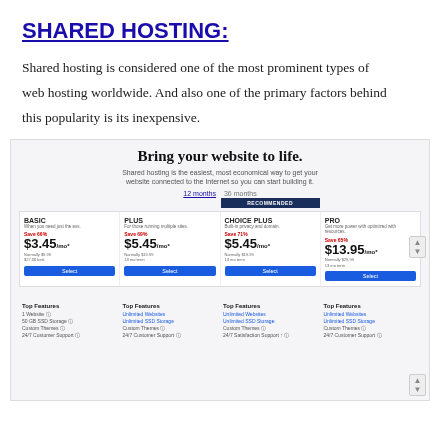SHARED HOSTING:
Shared hosting is considered one of the most prominent types of web hosting worldwide. And also one of the primary factors behind this popularity is its inexpensive.
[Figure (screenshot): Screenshot of a web hosting pricing page showing 'Bring your website to life.' heading with four plan columns: BASIC ($3.45/mo), PLUS ($5.45/mo), CHOICE PLUS ($5.45/mo, recommended), PRO ($13.95/mo), each with Save %, pricing, normal price, and Select buttons. Below are Top Features for each plan.]